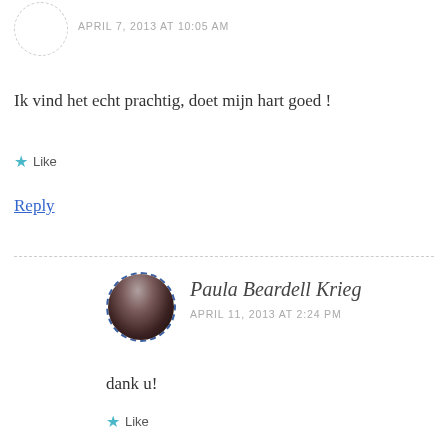APRIL 7, 2013 AT 10:05 AM
Ik vind het echt prachtig, doet mijn hart goed !
Like
Reply
Paula Beardell Krieg
APRIL 11, 2013 AT 2:24 PM
dank u!
Like